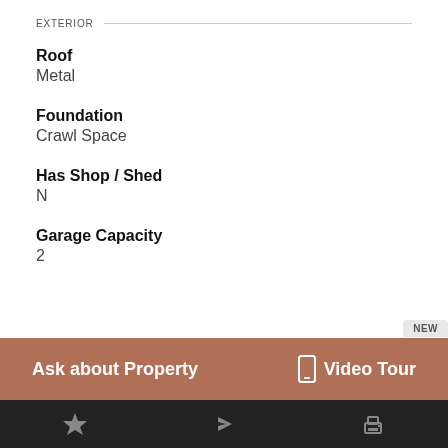EXTERIOR
Roof
Metal
Foundation
Crawl Space
Has Shop / Shed
N
Garage Capacity
2
Ask about Property
Video Tour